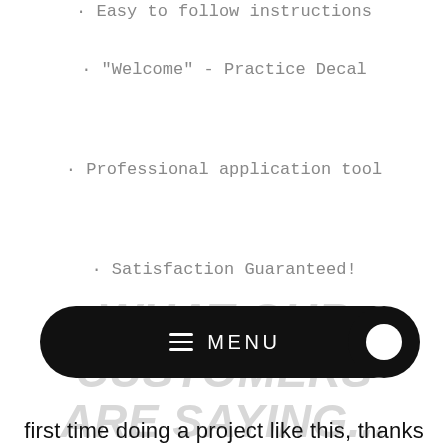Easy to follow instructions
"Welcome" - Practice Decal
Professional application tool
Satisfaction Guaranteed!
WHAT OUR CUSTOMERS ARE SAYING...
first time doing a project like this, thanks